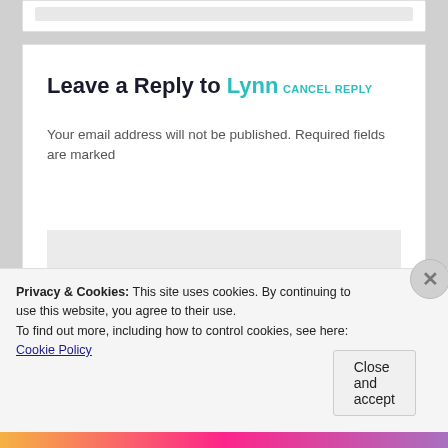Leave a Reply to Lynn
CANCEL REPLY
Your email address will not be published. Required fields are marked
[Figure (screenshot): Light gray comment text area input box]
Privacy & Cookies: This site uses cookies. By continuing to use this website, you agree to their use.
To find out more, including how to control cookies, see here: Cookie Policy
Close and accept